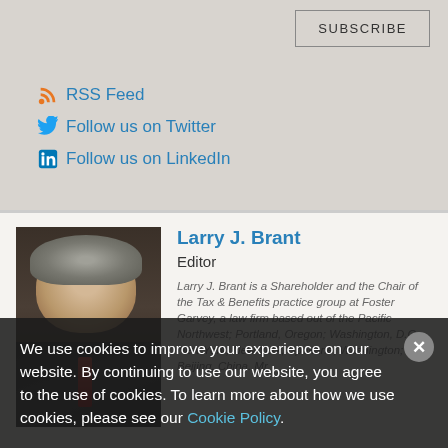RSS Feed
Follow us on Twitter
Follow us on LinkedIn
Larry J. Brant
Editor
Larry J. Brant is a Shareholder and the Chair of the Tax & Benefits practice group at Foster Garvey, a law firm based out of the Pacific Northwest; Portland, Oregon; Washington, D.C.; New York, New York, Spokane, Washington; and Beijing, China. Mr.
We use cookies to improve your experience on our website. By continuing to use our website, you agree to the use of cookies. To learn more about how we use cookies, please see our Cookie Policy.